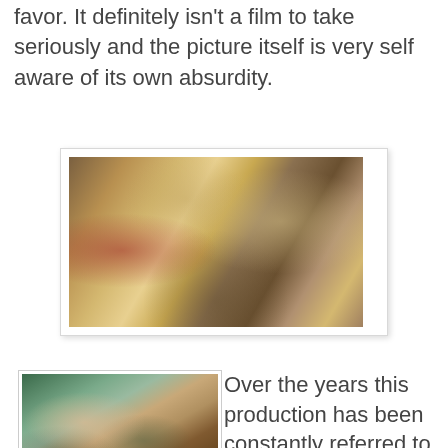favor. It definitely isn't a film to take seriously and the picture itself is very self aware of its own absurdity.
[Figure (photo): A martial arts fight scene from a movie showing two fighters in an ornate room with yellow curtains. One fighter in armor holds a long pole weapon, the other in white clothing is in a defensive stance.]
[Figure (photo): Two characters from a martial arts film, a young man smiling in the foreground holding a weapon, and a woman behind him, both in a forest-like setting.]
Over the years this production has been constantly referred to as a 'kung fu movie'. And while that stigma isn't incorrect, FIVE ELEMENT NINJAS is a hybrid Wuxia and kung fu spectacle. The kung fu label applies